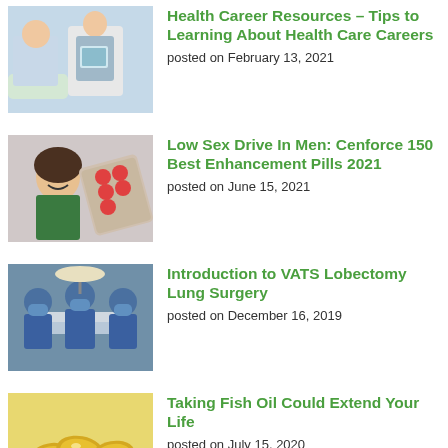[Figure (photo): Medical professional holding a tablet device, healthcare setting]
Health Career Resources – Tips to Learning About Health Care Careers
posted on February 13, 2021
[Figure (photo): Woman smiling with blister packs of pills/medication]
Low Sex Drive In Men: Cenforce 150 Best Enhancement Pills 2021
posted on June 15, 2021
[Figure (photo): Surgical team in blue scrubs performing an operation in an operating room]
Introduction to VATS Lobectomy Lung Surgery
posted on December 16, 2019
[Figure (photo): Fish oil capsules/supplement pills on a plate]
Taking Fish Oil Could Extend Your Life
posted on July 15, 2020